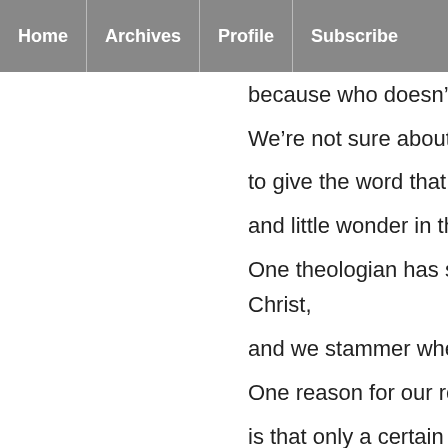Home | Archives | Profile | Subscribe
because who doesn't like a sto
We're not sure about the Parou
to give the word that is often u
and little wonder in the langua
One theologian has said 'we ca Christ,
and we stammer when we try t
One reason for our reluctance
is that only a certain kind of Ch
and they tend to talk about it a
and often in fairly aggressive w
and we're pretty sure we don't
What this means is while for sc